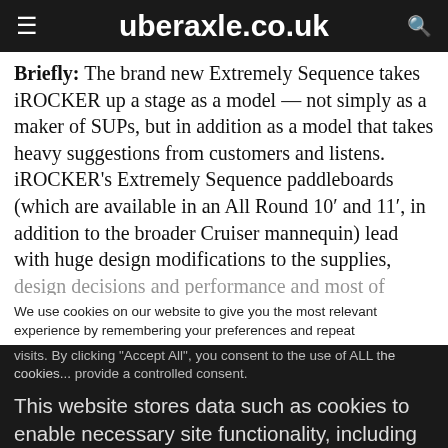uberaxle.co.uk
Briefly: The brand new Extremely Sequence takes iROCKER up a stage as a model — not simply as a maker of SUPs, but in addition as a model that takes heavy suggestions from customers and listens. iROCKER's Extremely Sequence paddleboards (which are available in an All Round 10′ and 11′, in addition to the broader Cruiser mannequin) lead with huge design modifications to the supplies, [continues...]
We use cookies on our website to give you the most relevant experience by remembering your preferences and repeat visits. By clicking "Accept All", you consent to the use of ALL t[he cookies...] provide a controlled consent.
This website stores data such as cookies to enable necessary site functionality, including analytics, targeting, and personalization. By remaining on this website you indicate your consent Cookie Policy